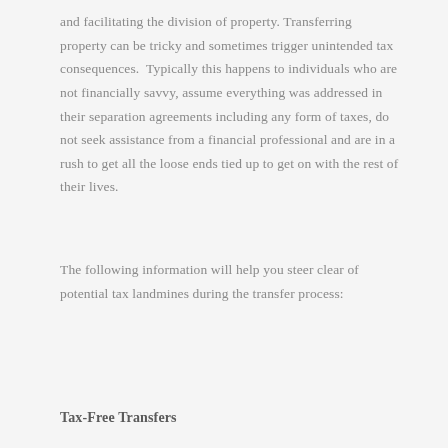and facilitating the division of property. Transferring property can be tricky and sometimes trigger unintended tax consequences.  Typically this happens to individuals who are not financially savvy, assume everything was addressed in their separation agreements including any form of taxes, do not seek assistance from a financial professional and are in a rush to get all the loose ends tied up to get on with the rest of their lives.
The following information will help you steer clear of potential tax landmines during the transfer process:
Tax-Free Transfers